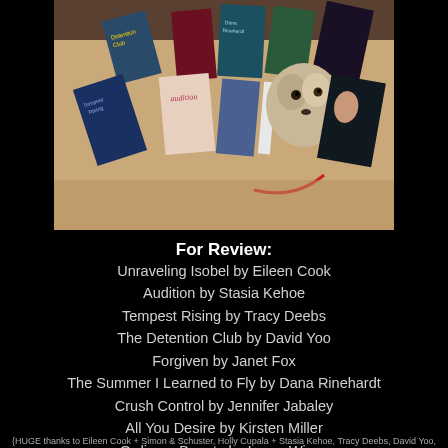[Figure (photo): Photograph of multiple book covers spread out on a surface with a dog visible in the background. Books visible include Audition, Tempest Rising, and others.]
For Review:
Unraveling Isobel by Eileen Cook
Audition by Stasia Kehoe
Tempest Rising by Tracy Deebs
The Detention Club by David Yoo
Forgiven by Janet Fox
The Summer I Learned to Fly by Dana Rinehardt
Crush Control by Jennifer Jabaley
All You Desire by Kirsten Miller
Ordinary Beauty by Laura Wiess
{HUGE thanks to Eileen Cook + Simon & Schuster, Holly Cupala + Stasia Kehoe, Tracy Deebs, David Yoo,